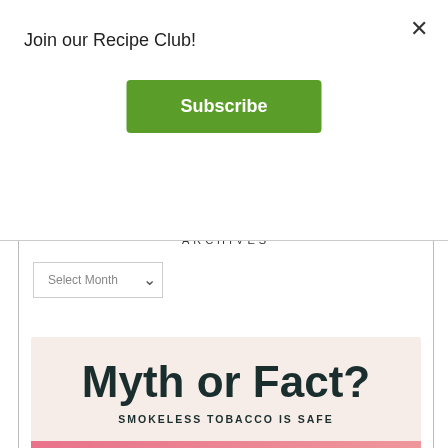Join our Recipe Club!
Subscribe
ARCHIVES
[Figure (screenshot): Select Month dropdown widget]
[Figure (infographic): Myth or Fact? infographic card. Title: Myth or Fact? Subtitle: SMOKELESS TOBACCO IS SAFE. Answer panel (pink): MYTH! No form of...]